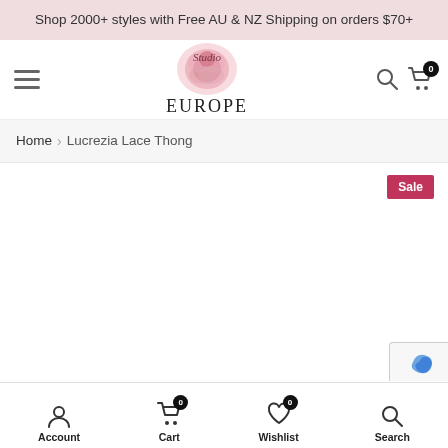Shop 2000+ styles with Free AU & NZ Shipping on orders $70+
[Figure (logo): Studio Europe logo with pink rose illustration and serif text]
Home > Lucrezia Lace Thong
Sale
Account | Cart 0 | Wishlist 0 | Search